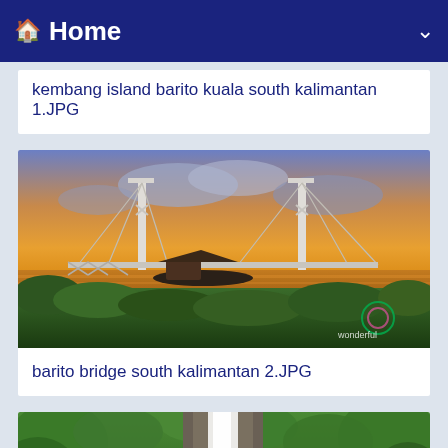Home
kembang island barito kuala south kalimantan 1.JPG
[Figure (photo): A bridge at sunset over a river with boats and lush green vegetation in the foreground, featuring a white truss bridge structure with cable stays, warm orange sky with clouds, and a 'wonderful' watermark logo in the lower right corner.]
barito bridge south kalimantan 2.JPG
[Figure (photo): A waterfall surrounded by dense green tropical vegetation, with white cascading water falling down rocky terrain.]